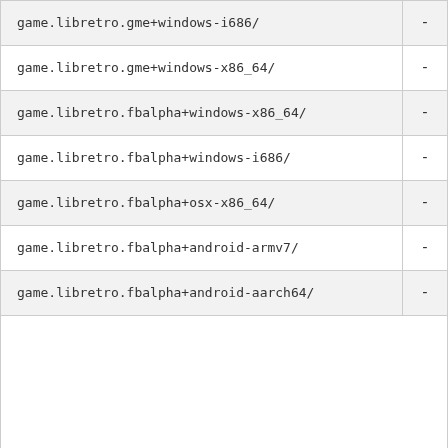game.libretro.gme+windows-i686/	-
game.libretro.gme+windows-x86_64/	-
game.libretro.fbalpha+windows-x86_64/	-
game.libretro.fbalpha+windows-i686/	-
game.libretro.fbalpha+osx-x86_64/	-
game.libretro.fbalpha+android-armv7/	-
game.libretro.fbalpha+android-aarch64/	-